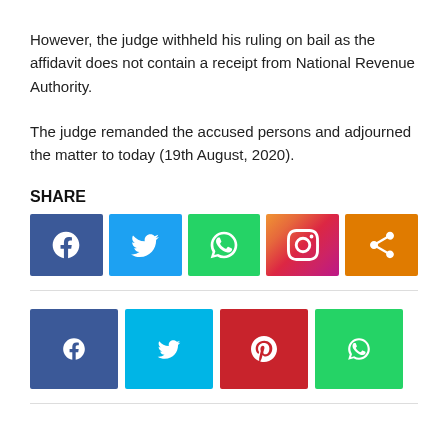However, the judge withheld his ruling on bail as the affidavit does not contain a receipt from National Revenue Authority.
The judge remanded the accused persons and adjourned the matter to today (19th August, 2020).
SHARE
[Figure (infographic): Social share buttons row: Facebook (blue), Twitter (light blue), WhatsApp (green), Instagram (gradient pink/purple), Share (orange)]
[Figure (infographic): Smaller social share buttons row: Facebook (blue), Twitter (cyan), Pinterest (red), WhatsApp (green)]